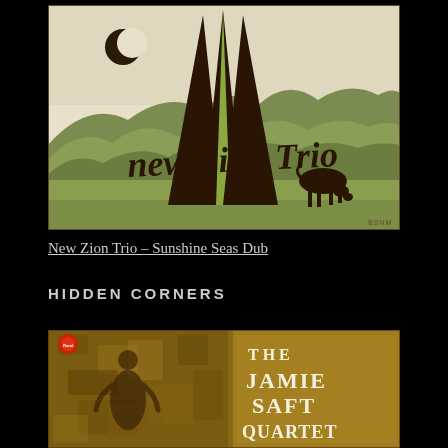[Figure (illustration): Album cover for New Zion Trio – Sunshine Seas Dub. Features a stylized illustration with a green and olive landscape, rolling mountains, dark triangular tent or teepee shapes with a green stripe, a crescent moon in the upper left, a silhouette of a grazing animal on the right, and cursive script reading 'New Zion Trio' across the lower portion. Small text 'BSNM' in bottom right corner.]
New Zion Trio – Sunshine Seas Dub
HIDDEN CORNERS
[Figure (illustration): Album cover for The Jamie Saft Quartet. Brown/sepia toned image showing a person's silhouette or figure with texture resembling cracked earth or old paper. Right side has bold serif text reading 'THE JAMIE SAFT QUARTET'. A small red circular logo in upper left reads 'Rural Volume Records'.]